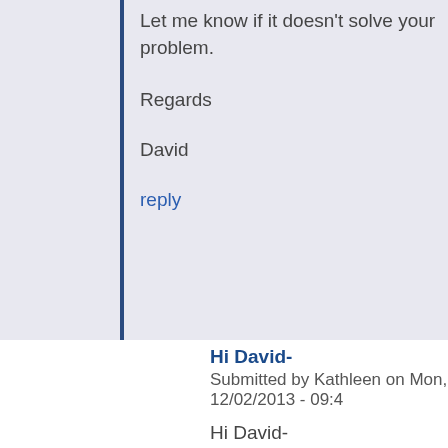Let me know if it doesn't solve your problem.
Regards
David
reply
Hi David-
Submitted by Kathleen on Mon, 12/02/2013 - 09:4
Hi David-
Thanks for the quick reply! I think a Pivot Table wi work, but my only fear of it was that Pivot Table wa going to be my next step... Of the accounts that ha calls completed, how many of them renewed? (so would have to compare the account name, with th won/lost status, etc)
Would I still be able to do another Pivot Table off